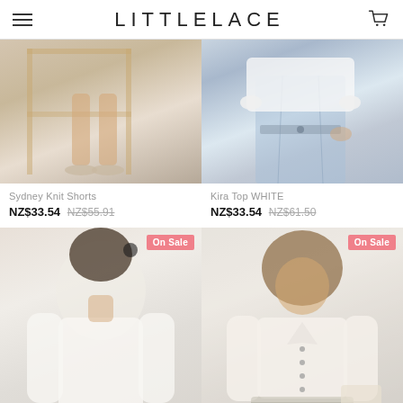LITTLELACE
[Figure (photo): Fashion product photo - Sydney Knit Shorts, showing legs of model with shorts and sandals near wooden furniture]
Sydney Knit Shorts
NZ$33.54 NZ$55.91
[Figure (photo): Fashion product photo - Kira Top WHITE, showing white ruffled top with light-wash distressed jeans]
Kira Top WHITE
NZ$33.54 NZ$61.50
[Figure (photo): Fashion product photo - model wearing white long sleeve knit top, On Sale badge]
[Figure (photo): Fashion product photo - model wearing white cropped cardigan with buttons, On Sale badge]